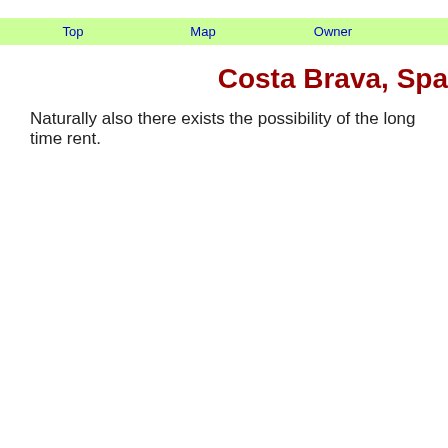Top   Map   Owner
Costa Brava, Spa
Naturally also there exists the possibility of the long time rent.